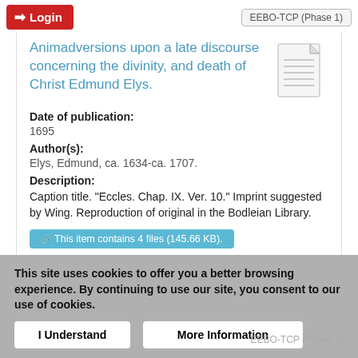Login | EEBO-TCP (Phase 1)
Animadversions upon a late discourse concerning the divinity, and death of Christ Edmund Elys.
Date of publication:
1695
Author(s):
Elys, Edmund, ca. 1634-ca. 1707.
Description:
Caption title. "Eccles. Chap. IX. Ver. 10." Imprint suggested by Wing. Reproduction of original in the Bodleian Library.
This item contains 4 files (145.66 KB).
This site uses cookies to offer you a better browsing experience. By continuing to use our site, you consent to our use of cookies.